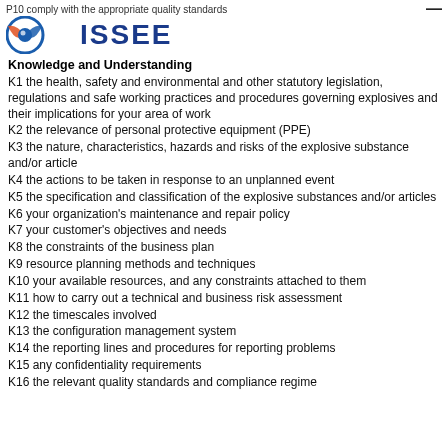P10 comply with the appropriate quality standards
[Figure (logo): ISSEE logo with eye icon and blue text]
Knowledge and Understanding
K1 the health, safety and environmental and other statutory legislation, regulations and safe working practices and procedures governing explosives and their implications for your area of work
K2 the relevance of personal protective equipment (PPE)
K3 the nature, characteristics, hazards and risks of the explosive substance and/or article
K4 the actions to be taken in response to an unplanned event
K5 the specification and classification of the explosive substances and/or articles
K6 your organization's maintenance and repair policy
K7 your customer's objectives and needs
K8 the constraints of the business plan
K9 resource planning methods and techniques
K10 your available resources, and any constraints attached to them
K11 how to carry out a technical and business risk assessment
K12 the timescales involved
K13 the configuration management system
K14 the reporting lines and procedures for reporting problems
K15 any confidentiality requirements
K16 the relevant quality standards and compliance regime